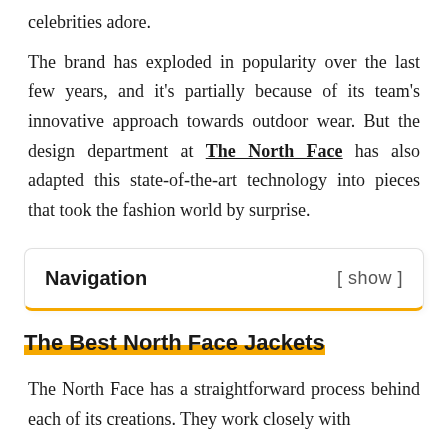celebrities adore.
The brand has exploded in popularity over the last few years, and it's partially because of its team's innovative approach towards outdoor wear. But the design department at The North Face has also adapted this state-of-the-art technology into pieces that took the fashion world by surprise.
| Navigation | [ show ] |
| --- | --- |
The Best North Face Jackets
The North Face has a straightforward process behind each of its creations. They work closely with